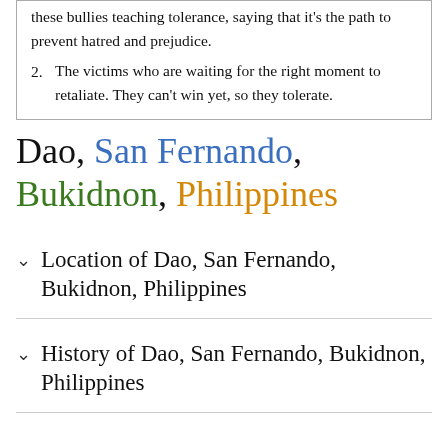these bullies teaching tolerance, saying that it's the path to prevent hatred and prejudice.
2. The victims who are waiting for the right moment to retaliate. They can't win yet, so they tolerate.
Dao, San Fernando, Bukidnon, Philippines
Location of Dao, San Fernando, Bukidnon, Philippines
History of Dao, San Fernando, Bukidnon, Philippines